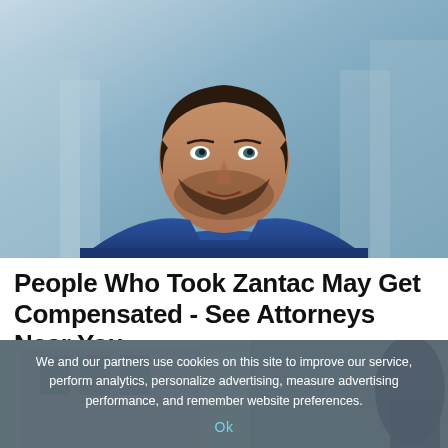[Figure (photo): Professional man in a blue suit with a white shirt, dark hair and beard, photographed from chest up against a blurred urban background. Appears to be a lawyer or attorney.]
People Who Took Zantac May Get Compensated - See Attorneys Near You
Attorney | Sponsored
Click Here
We and our partners use cookies on this site to improve our service, perform analytics, personalize advertising, measure advertising performance, and remember website preferences.
Ok